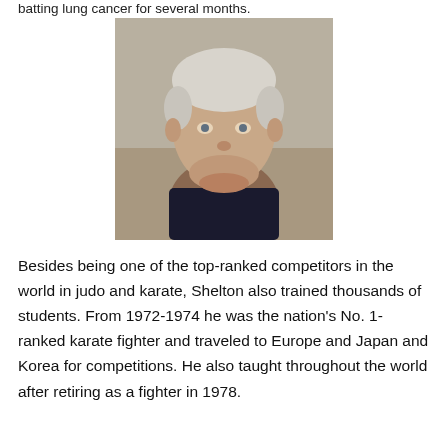batting lung cancer for several months.
[Figure (photo): Headshot of an elderly man with white hair, sitting in a chair, wearing a dark shirt, looking at the camera with a slight smile.]
Besides being one of the top-ranked competitors in the world in judo and karate, Shelton also trained thousands of students. From 1972-1974 he was the nation's No. 1-ranked karate fighter and traveled to Europe and Japan and Korea for competitions. He also taught throughout the world after retiring as a fighter in 1978.